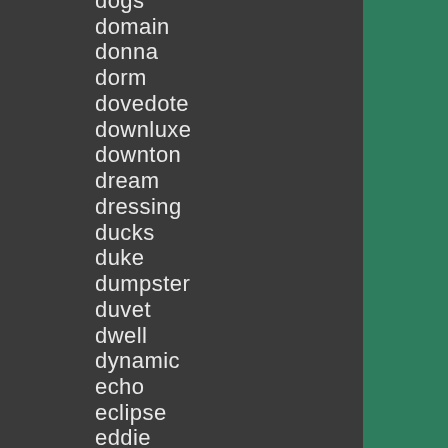dogs
domain
donna
dorm
dovedote
downluxe
downton
dream
dressing
ducks
duke
dumpster
duvet
dwell
dynamic
echo
eclipse
eddie
eguptian